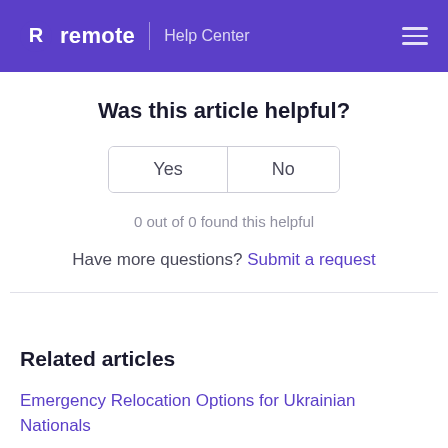remote | Help Center
Was this article helpful?
Yes   No
0 out of 0 found this helpful
Have more questions? Submit a request
Related articles
Emergency Relocation Options for Ukrainian Nationals